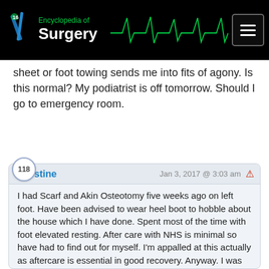Encyclopedia of Surgery
sheet or foot towing sends me into fits of agony. Is this normal? My podiatrist is off tomorrow. Should I go to emergency room.
Christine — Jan 3, 2017 @ 3:03 am

I had Scarf and Akin Osteotomy five weeks ago on left foot. Have been advised to wear heel boot to hobble about the house which I have done. Spent most of the time with foot elevated resting. After care with NHS is minimal so have had to find out for myself. I'm appalled at this actually as aftercare is essential in good recovery. Anyway. I was told by surgeon that I can stop wearing the heel boot at 6 weeks and to wear my trainers from there on. That will be on This Sunday which is 6 days away. Today I put my foot flat on the floor ( without weight bearing of course) I experienced significant pain in the ball of my foot and shooting pains in my big toe. I'm not seeing the surgeon until a week on Friday which will be nearly 7 weeks PO. Very scared that I'm not going to be able to walk normally and that I'll have pain. Although this experience hasn't been too bad I have